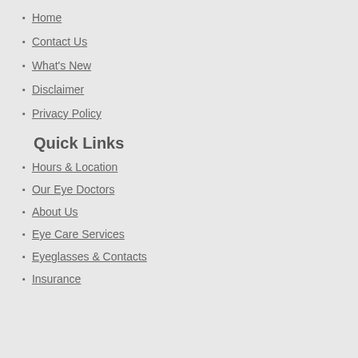Home
Contact Us
What's New
Disclaimer
Privacy Policy
Quick Links
Hours & Location
Our Eye Doctors
About Us
Eye Care Services
Eyeglasses & Contacts
Insurance